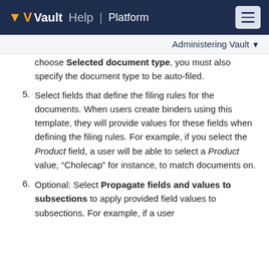Vault Help | Platform
Administering Vault
choose Selected document type, you must also specify the document type to be auto-filed.
5. Select fields that define the filing rules for the documents. When users create binders using this template, they will provide values for these fields when defining the filing rules. For example, if you select the Product field, a user will be able to select a Product value, “Cholecap” for instance, to match documents on.
6. Optional: Select Propagate fields and values to subsections to apply provided field values to subsections. For example, if a user